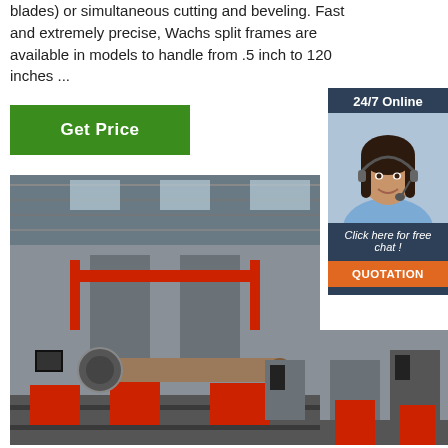blades) or simultaneous cutting and beveling. Fast and extremely precise, Wachs split frames are available in models to handle from .5 inch to 120 inches ...
[Figure (illustration): Green 'Get Price' button]
[Figure (illustration): Sidebar widget with '24/7 Online' heading, female customer service representative with headset, 'Click here for free chat!' text, and orange 'QUOTATION' button on dark blue background]
[Figure (photo): Industrial facility interior showing a large pipe cutting/beveling machine on a rail system with red components, inside a large warehouse with steel roof structure]